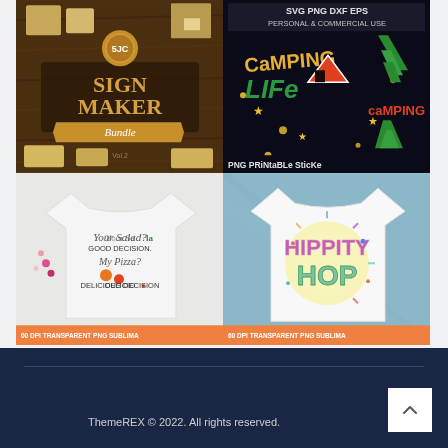[Figure (illustration): 2x2 grid of product images: top-left Sign Maker Bundle SVG product, top-right Camping Life SVG/PNG/DXF/EPS sticker product, bottom-left t-shirt sublimation design (Your Salad Good Decision My Pizza Delicious Decision), bottom-right t-shirt sublimation design (Hippity Hop). Bottom images have banner text '300 DPI TRANSPARENT PNG SUBLIMA...']
ThemeREX © 2022. All rights reserved.